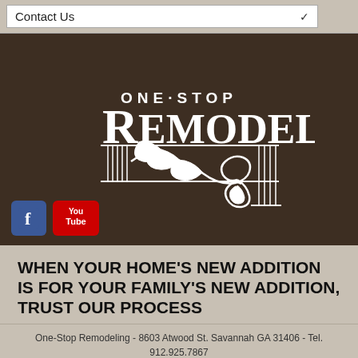Contact Us
[Figure (logo): One-Stop Remodeling logo with decorative column capital scroll design in white on dark brown background, with Facebook and YouTube social media icons below]
WHEN YOUR HOME'S NEW ADDITION IS FOR YOUR FAMILY'S NEW ADDITION, TRUST OUR PROCESS
One-Stop Remodeling - 8603 Atwood St. Savannah GA 31406 - Tel. 912.925.7867